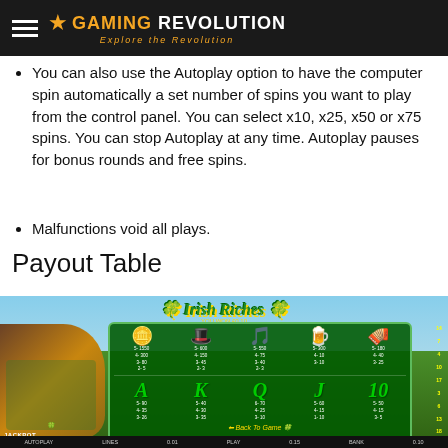Gaming Revolution — Explore the Revolution
You can also use the Autoplay option to have the computer spin automatically a set number of spins you want to play from the control panel. You can select x10, x25, x50 or x75 spins. You can stop Autoplay at any time. Autoplay pauses for bonus rounds and free spins.
Malfunctions void all plays.
Payout Table
[Figure (screenshot): Irish Riches slot game payout table screenshot showing symbol payouts for gold coin, green hat, harp, mug, pipe (top row) and A, K, Q, J, 10 (bottom row) with a leprechaun character on the left side]